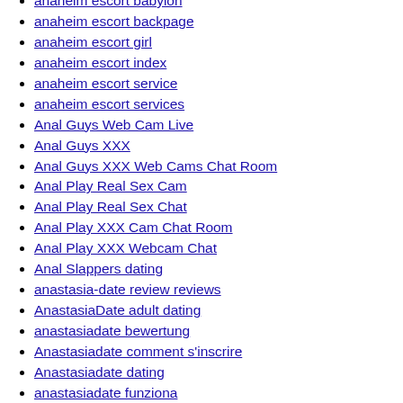anaheim escort babylon
anaheim escort backpage
anaheim escort girl
anaheim escort index
anaheim escort service
anaheim escort services
Anal Guys Web Cam Live
Anal Guys XXX
Anal Guys XXX Web Cams Chat Room
Anal Play Real Sex Cam
Anal Play Real Sex Chat
Anal Play XXX Cam Chat Room
Anal Play XXX Webcam Chat
Anal Slappers dating
anastasia-date review reviews
AnastasiaDate adult dating
anastasiadate bewertung
Anastasiadate comment s'inscrire
Anastasiadate dating
anastasiadate funziona
anastasiadate mobile site
AnastasiaDate online dating
Anastasiadate review
anastasiadate sign in